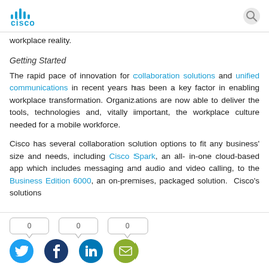Cisco logo and search icon
workplace reality.
Getting Started
The rapid pace of innovation for collaboration solutions and unified communications in recent years has been a key factor in enabling workplace transformation. Organizations are now able to deliver the tools, technologies and, vitally important, the workplace culture needed for a mobile workforce.
Cisco has several collaboration solution options to fit any business' size and needs, including Cisco Spark, an all-in-one cloud-based app which includes messaging and audio and video calling, to the Business Edition 6000, an on-premises, packaged solution. Cisco's solutions
[Figure (infographic): Social sharing bar with speech bubble counters (0, 0, 0) and social media icons: Twitter (blue), Facebook (dark blue), LinkedIn (blue), Email (green)]